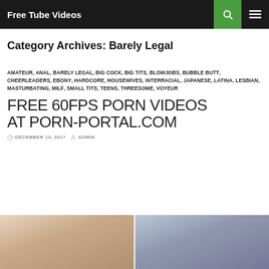Free Tube Videos
Category Archives: Barely Legal
AMATEUR, ANAL, BARELY LEGAL, BIG COCK, BIG TITS, BLOWJOBS, BUBBLE BUTT, CHEERLEADERS, EBONY, HARDCORE, HOUSEWIVES, INTERRACIAL, JAPANESE, LATINA, LESBIAN, MASTURBATING, MILF, SMALL TITS, TEENS, THREESOME, VOYEUR
FREE 60FPS PORN VIDEOS AT PORN-PORTAL.COM
DECEMBER 14, 2017   ADMIN
[Figure (photo): Two thumbnail images side by side showing video previews]